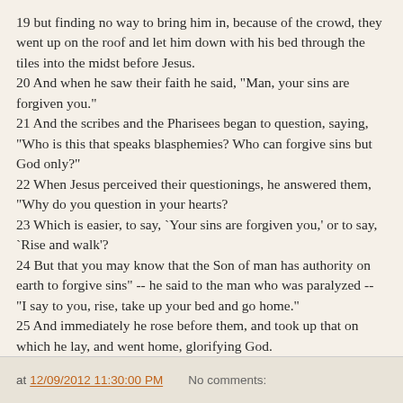19 but finding no way to bring him in, because of the crowd, they went up on the roof and let him down with his bed through the tiles into the midst before Jesus. 20 And when he saw their faith he said, "Man, your sins are forgiven you." 21 And the scribes and the Pharisees began to question, saying, "Who is this that speaks blasphemies? Who can forgive sins but God only?" 22 When Jesus perceived their questionings, he answered them, "Why do you question in your hearts? 23 Which is easier, to say, `Your sins are forgiven you,' or to say, `Rise and walk'? 24 But that you may know that the Son of man has authority on earth to forgive sins" -- he said to the man who was paralyzed -- "I say to you, rise, take up your bed and go home." 25 And immediately he rose before them, and took up that on which he lay, and went home, glorifying God. 26 And amazement seized them all, and they glorified God and were filled with awe, saying, "We have seen strange things today."
at 12/09/2012 11:30:00 PM    No comments: